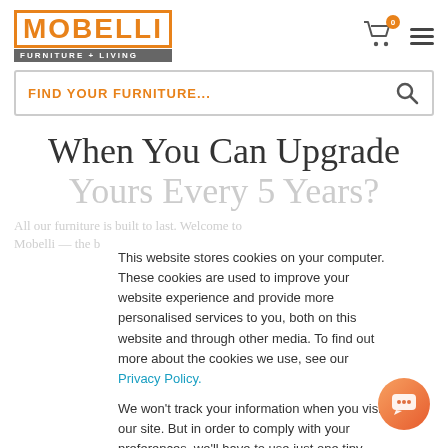MOBELLI FURNITURE + LIVING
FIND YOUR FURNITURE...
When You Can Upgrade Yours Every 5 Years?
This website stores cookies on your computer. These cookies are used to improve your website experience and provide more personalised services to you, both on this website and through other media. To find out more about the cookies we use, see our Privacy Policy.

We won't track your information when you visit our site. But in order to comply with your preferences, we'll have to use just one tiny cookie so that you're not asked to make this choice again.
Accept
Decline